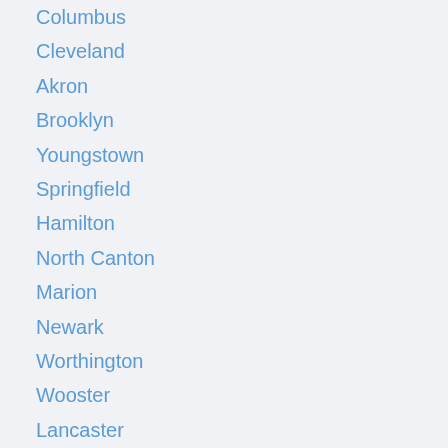Columbus
Cleveland
Akron
Brooklyn
Youngstown
Springfield
Hamilton
North Canton
Marion
Newark
Worthington
Wooster
Lancaster
Westlake
Massillon
Chillicothe
Troy
Chagrin Falls
Mentor
Shaker Heights
Grove City
Independence
Perrysburg